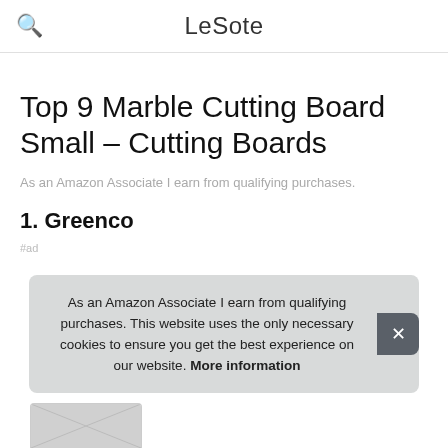LeSote
Top 9 Marble Cutting Board Small – Cutting Boards
As an Amazon Associate I earn from qualifying purchases.
1. Greenco
#ad
As an Amazon Associate I earn from qualifying purchases. This website uses the only necessary cookies to ensure you get the best experience on our website. More information